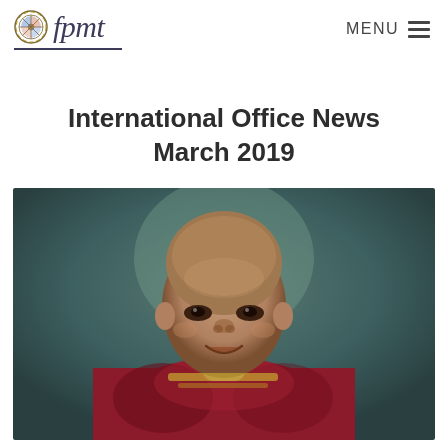fpmt | MENU
International Office News
March 2019
[Figure (photo): Portrait photo of a smiling elderly Buddhist monk with shaved head wearing maroon robes, photographed against a blurred green-grey background.]